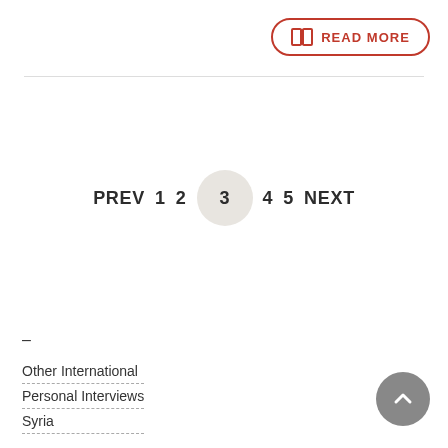[Figure (other): READ MORE button with book icon, red border, rounded rectangle]
PREV  1  2  3  4  5  NEXT
–
Other International
Personal Interviews
Syria
[Figure (other): Scroll to top button, grey circle with upward chevron]